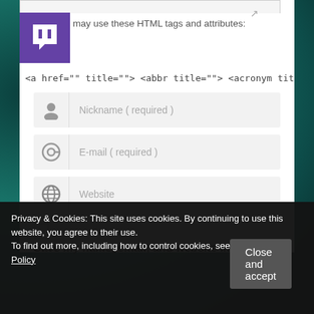[Figure (logo): Twitch purple logo with white speech bubble icon]
may use these HTML tags and attributes:
<a href="" title=""> <abbr title=""> <acronym title="
[Figure (screenshot): Nickname (required) input field with person icon]
[Figure (screenshot): E-mail (required) input field with @ icon]
[Figure (screenshot): Website input field with globe icon]
Save my name, email, and website in this
Privacy & Cookies: This site uses cookies. By continuing to use this website, you agree to their use.
To find out more, including how to control cookies, see here: Cookie Policy